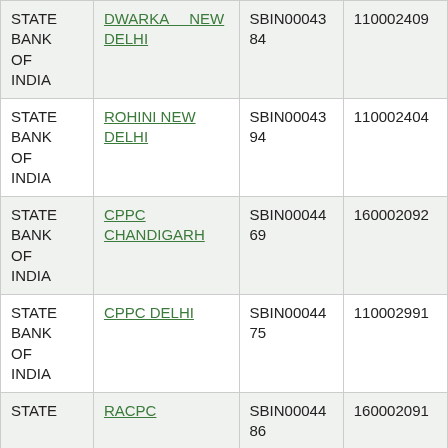| Bank | Branch | IFSC | MICR |
| --- | --- | --- | --- |
| STATE BANK OF INDIA | DWARKA NEW DELHI | SBIN0004384 | 110002409 |
| STATE BANK OF INDIA | ROHINI NEW DELHI | SBIN0004394 | 110002404 |
| STATE BANK OF INDIA | CPPC CHANDIGARH | SBIN0004469 | 160002092 |
| STATE BANK OF INDIA | CPPC DELHI | SBIN0004475 | 110002991 |
| STATE BANK OF INDIA | RACPC | SBIN0004486 | 160002091 |